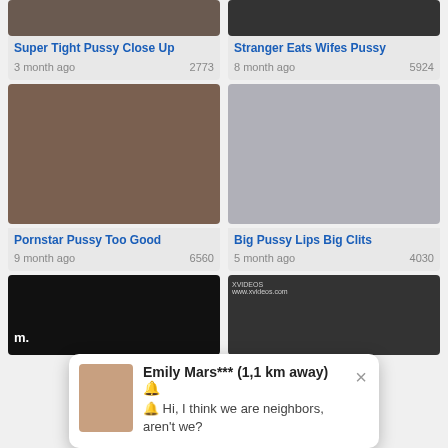[Figure (screenshot): Video thumbnail - dark/flesh tones top left]
Super Tight Pussy Close Up
3 month ago   2773
[Figure (screenshot): Video thumbnail - dark top right]
Stranger Eats Wifes Pussy
8 month ago   5924
[Figure (photo): Explicit photo thumbnail left]
Pornstar Pussy Too Good
9 month ago   6560
[Figure (photo): Gray placeholder thumbnail right]
Big Pussy Lips Big Clits
5 month ago   4030
[Figure (screenshot): Video thumbnail dark bottom left with 'm.' text]
[Figure (screenshot): Video thumbnail bottom right with www.xvideos.com watermark]
Emily Mars*** (1,1 km away) 🔔
🔔 Hi, I think we are neighbors, aren't we?